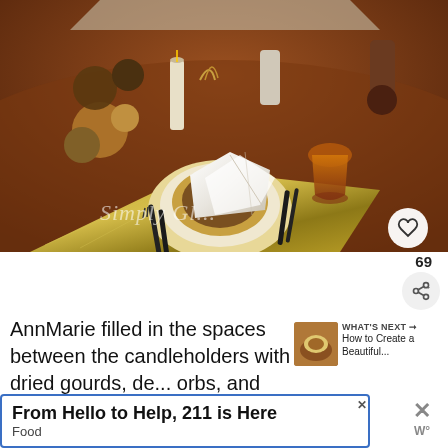[Figure (photo): A Thanksgiving/fall table setting photographed from above at an angle, showing a wooden table with a decorative fringed placemat in gold/green tones, stacked plates with a folded white napkin on top, black cutlery, an amber glass, candles, dried gourds, and other seasonal decorations. Watermark reads 'Simply Gl...' in white script. A heart icon button is visible in the lower right.]
69
AnnMarie filled in the spaces between the candleholders with dried gourds, de... orbs, and some Indian corn.
WHAT'S NEXT → How to Create a Beautiful...
From Hello to Help, 211 is Here
Food